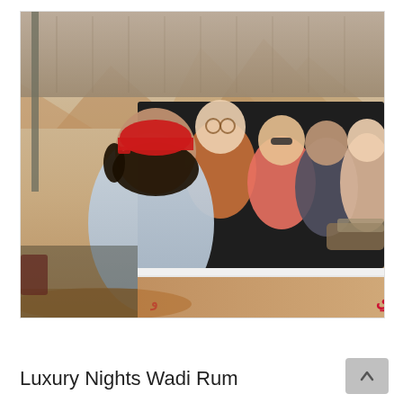[Figure (photo): A group of tourists (two men and three women) riding in the back of a pickup truck in the desert landscape of Wadi Rum, Jordan. A young local guide with long dark hair and a red cap stands in front of the vehicle. Arabic text on the side of the vehicle reads. Sandy desert and rocky mountains visible in background.]
Luxury Nights Wadi Rum